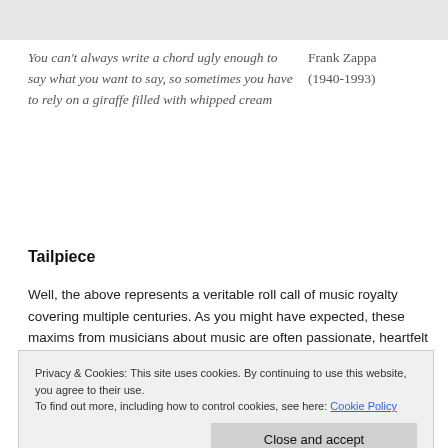You can't always write a chord ugly enough to say what you want to say, so sometimes you have to rely on a giraffe filled with whipped cream — Frank Zappa (1940-1993)
Tailpiece
Well, the above represents a veritable roll call of music royalty covering multiple centuries. As you might have expected, these maxims from musicians about music are often passionate, heartfelt and powerful, almost beyond words. The historical male dominance of the industry is clear and look forward to more female music professionals being credited for their insightful
Privacy & Cookies: This site uses cookies. By continuing to use this website, you agree to their use. To find out more, including how to control cookies, see here: Cookie Policy
There is a lifetime of ever-growing musical exploration to be had